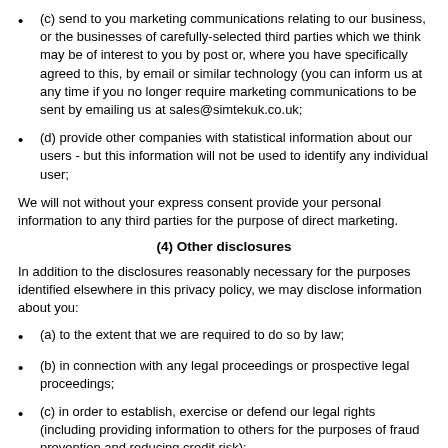(c) send to you marketing communications relating to our business, or the businesses of carefully-selected third parties which we think may be of interest to you by post or, where you have specifically agreed to this, by email or similar technology (you can inform us at any time if you no longer require marketing communications to be sent by emailing us at sales@simtekuk.co.uk;
(d) provide other companies with statistical information about our users - but this information will not be used to identify any individual user;
We will not without your express consent provide your personal information to any third parties for the purpose of direct marketing.
(4) Other disclosures
In addition to the disclosures reasonably necessary for the purposes identified elsewhere in this privacy policy, we may disclose information about you:
(a) to the extent that we are required to do so by law;
(b) in connection with any legal proceedings or prospective legal proceedings;
(c) in order to establish, exercise or defend our legal rights (including providing information to others for the purposes of fraud prevention and reducing credit risk);
Except as provided in this privacy policy, we will not provide your information to third parties.
(5) International data transfers